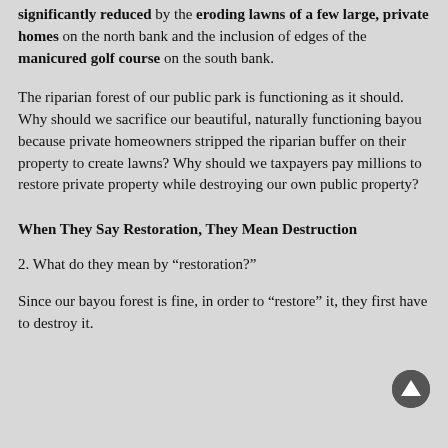significantly reduced by the eroding lawns of a few large, private homes on the north bank and the inclusion of edges of the manicured golf course on the south bank.
The riparian forest of our public park is functioning as it should. Why should we sacrifice our beautiful, naturally functioning bayou because private homeowners stripped the riparian buffer on their property to create lawns? Why should we taxpayers pay millions to restore private property while destroying our own public property?
When They Say Restoration, They Mean Destruction
2. What do they mean by “restoration?”
Since our bayou forest is fine, in order to “restore” it, they first have to destroy it.